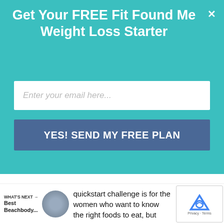Get Your FREE Fit Found Me Weight Loss Starter
Enter your email here...
YES! SEND MY FREE PLAN
much more tolerable.
[Figure (screenshot): 14 Day Bootcamp Challenge to a Healthy Lifestyle promotional card with gray background and white bold text]
quickstart challenge is for the women who want to know the right foods to eat, but
WHAT'S NEXT → Best Beachbody...